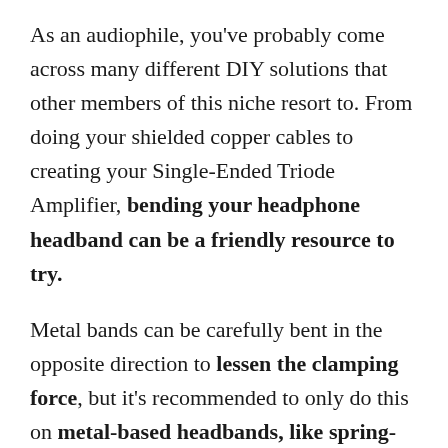As an audiophile, you've probably come across many different DIY solutions that other members of this niche resort to. From doing your shielded copper cables to creating your Single-Ended Triode Amplifier, bending your headphone headband can be a friendly resource to try.
Metal bands can be carefully bent in the opposite direction to lessen the clamping force, but it's recommended to only do this on metal-based headbands, like spring-steel. Plastic will often break.
If you're looking for a different solution or a safer way to change your headphone's grip, you can try leaving